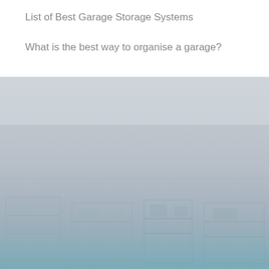List of Best Garage Storage Systems
What is the best way to organise a garage?
[Figure (photo): A faded photograph of a garage interior showing storage shelves and organized garage space, with a gradient overlay transitioning from light gray/white at the top to a muted blue-teal color at the bottom.]